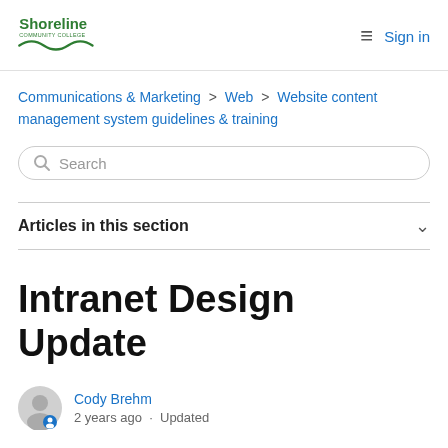Shoreline Community College — Sign in
Communications & Marketing > Web > Website content management system guidelines & training
Search
Articles in this section
Intranet Design Update
Cody Brehm
2 years ago · Updated